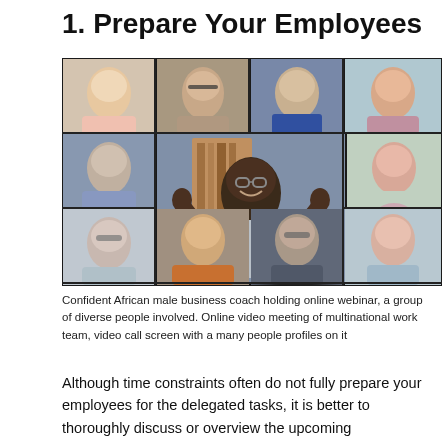1. Prepare Your Employees
[Figure (photo): A video call screen showing a grid of diverse people. A confident African male business coach is in the center, smiling and gesturing with hands open. Surrounding him in smaller tiles are various people of different ethnicities and genders, all participating in an online webinar.]
Confident African male business coach holding online webinar, a group of diverse people involved. Online video meeting of multinational work team, video call screen with a many people profiles on it
Although time constraints often do not fully prepare your employees for the delegated tasks, it is better to thoroughly discuss or overview the upcoming